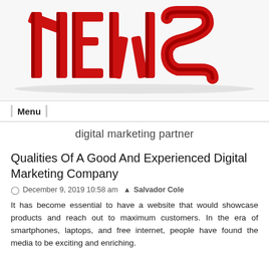[Figure (illustration): 3D red bold letters spelling 'news' on a white background, casting shadows]
Menu
digital marketing partner
Qualities Of A Good And Experienced Digital Marketing Company
December 9, 2019 10:58 am  Salvador Cole
It has become essential to have a website that would showcase products and reach out to maximum customers. In the era of smartphones, laptops, and free internet, people have found the media to be exciting and enriching.